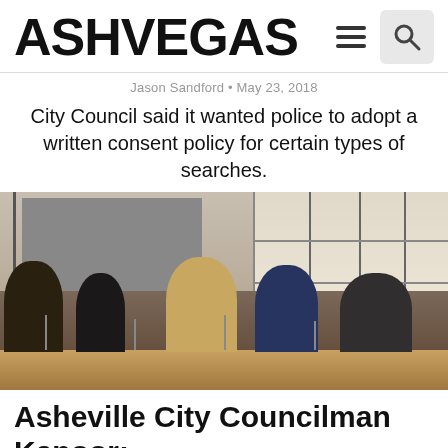ASHVEGAS
Jason Sandford • May 23, 2018
City Council said it wanted police to adopt a written consent policy for certain types of searches.
[Figure (photo): City Council members seated at a long table in a council chamber, with a gray projection screen and large window in the background. Five people are visible seated at the table with microphones.]
Asheville City Councilman Kapoor: